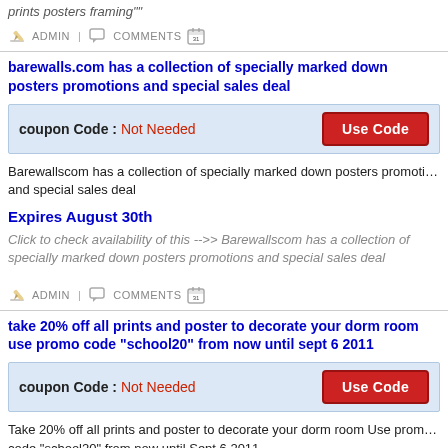prints posters framing""
ADMIN | COMMENTS
barewalls.com has a collection of specially marked down posters promotions and special sales deal
coupon Code : Not Needed   Use Code
Barewallscom has a collection of specially marked down posters promotions and special sales deal
Expires August 30th
Click to check availability of this -->> Barewallscom has a collection of specially marked down posters promotions and special sales deal
ADMIN | COMMENTS
take 20% off all prints and poster to decorate your dorm room use promo code "school20" from now until sept 6 2011
coupon Code : Not Needed   Use Code
Take 20% off all prints and poster to decorate your dorm room Use promo code "school20" from now until Sept 6 2011